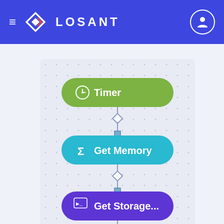LOSANT
[Figure (flowchart): Losant workflow diagram showing a vertical chain of nodes: Timer (green) → Get Memory (cyan/teal) → Get Storage... (purple) → Get Storage... (purple), connected by lines with diamond and square connectors on a dotted grid background.]